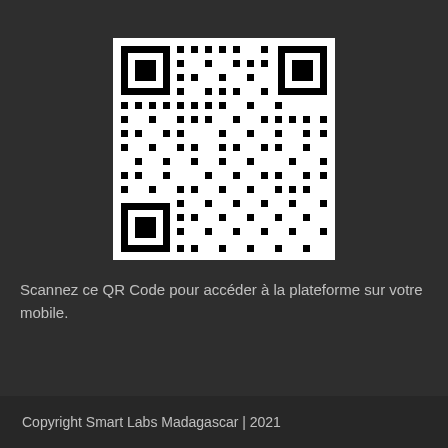[Figure (other): QR Code for accessing the Smart Labs Madagascar platform on mobile]
Scannez ce QR Code pour accéder à la plateforme sur votre mobile.
Copyright Smart Labs Madagascar | 2021